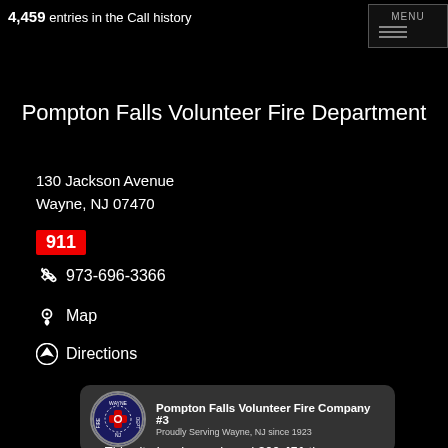4,459 entries in the Call history
Pompton Falls Volunteer Fire Department
130 Jackson Avenue
Wayne, NJ 07470
911
973-696-3366
Map
Directions
[Figure (logo): Pompton Falls Volunteer Fire Company #3 logo badge — Wayne Fire Dept circular badge with text: Pompton Falls Volunteer Fire Company #3, Proudly Serving Wayne, NJ since 1923]
This site has been viewed 300,451 times.
[Figure (infographic): Social media icons: Facebook, Twitter, Email, RSS feed]